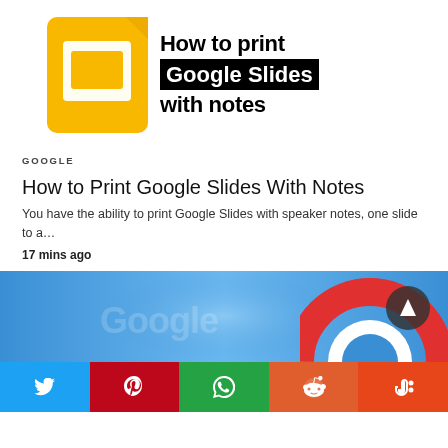[Figure (screenshot): Google Slides icon (yellow/orange app icon with slide symbol) next to text reading 'How to print Google Slides with notes' where 'Google Slides' is in white text on black background.]
GOOGLE
How to Print Google Slides With Notes
You have the ability to print Google Slides with speaker notes, one slide to a…
17 mins ago
[Figure (screenshot): Google Chrome browser article header image with blue gradient background showing Google logo watermark and Chrome logo icon visible, with a dark circular up-arrow navigation button in the corner.]
[Figure (infographic): Social sharing bar with five colored buttons: Twitter (blue), Pinterest (red), WhatsApp (green), Reddit (orange), StumbleUpon (orange-red).]